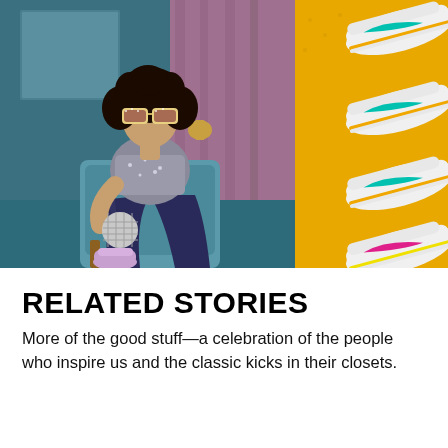[Figure (photo): Woman with curly hair wearing large sparkly sunglasses, silver crop top, navy velvet wide-leg pants and lavender sneakers, sitting on a teal chair holding a disco ball, in a stylized retro room.]
[Figure (photo): Multiple pairs of white Nike sneakers with teal/turquoise, orange, and pink swoosh accents arranged on a yellow furry background, shot from above at an angle.]
RELATED STORIES
More of the good stuff—a celebration of the people who inspire us and the classic kicks in their closets.